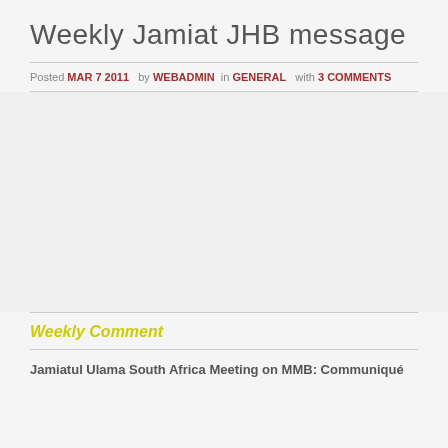Weekly Jamiat JHB message
Posted MAR 7 2011 by WEBADMIN in GENERAL with 3 COMMENTS
[Figure (other): Large empty/blank grey image area]
Weekly Comment
Jamiatul Ulama South Africa Meeting on MMB: Communiqué